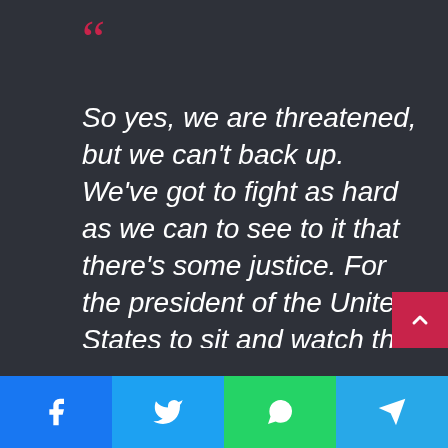So yes, we are threatened, but we can't back up. We've got to fight as hard as we can to see to it that there's some justice. For the president of the United States to sit and watch the invasion and the insurrection and not say a word because he knew that he had absolutely initiated it, and as some of them said, he invited us to come. We're here at the invitation of the president of the United States. When he rallied, he said go to the Capitol, fight